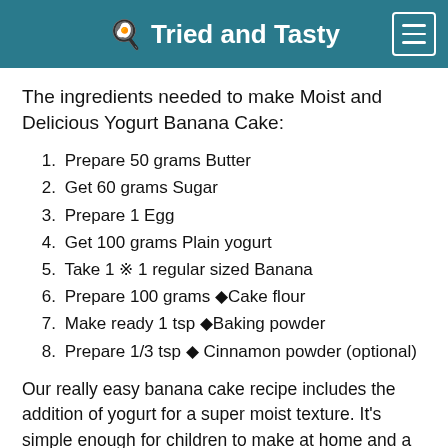🍳 Tried and Tasty
The ingredients needed to make Moist and Delicious Yogurt Banana Cake:
Prepare 50 grams Butter
Get 60 grams Sugar
Prepare 1 Egg
Get 100 grams Plain yogurt
Take 1 ※ 1 regular sized Banana
Prepare 100 grams ◆Cake flour
Make ready 1 tsp ◆Baking powder
Prepare 1/3 tsp ◆ Cinnamon powder (optional)
Our really easy banana cake recipe includes the addition of yogurt for a super moist texture. It's simple enough for children to make at home and a